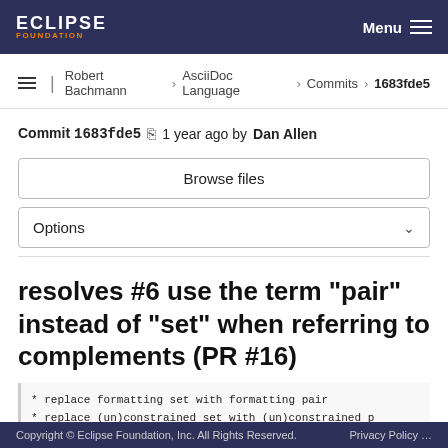ECLIPSE FOUNDATION | Menu
Robert Bachmann › AsciiDoc Language › Commits › 1683fde5
Commit 1683fde5  1 year ago by Dan Allen
Browse files
Options
resolves #6 use the term "pair" instead of "set" when referring to complements (PR #16)
* replace formatting set with formatting pair
* replace (un)constrained set with (un)constrained p
* replace set of brackets with pair of brackets
* replace set of delimited lines with pair of delimi
Copyright © Eclipse Foundation, Inc. All Rights Reserved.    Privacy Policy …